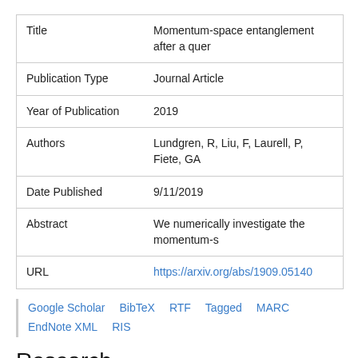| Field | Value |
| --- | --- |
| Title | Momentum-space entanglement after a quer |
| Publication Type | Journal Article |
| Year of Publication | 2019 |
| Authors | Lundgren, R, Liu, F, Laurell, P, Fiete, GA |
| Date Published | 9/11/2019 |
| Abstract | We numerically investigate the momentum-s |
| URL | https://arxiv.org/abs/1909.05140 |
Google Scholar  BibTeX  RTF  Tagged  MARC  EndNote XML  RIS
Research
Research Mission